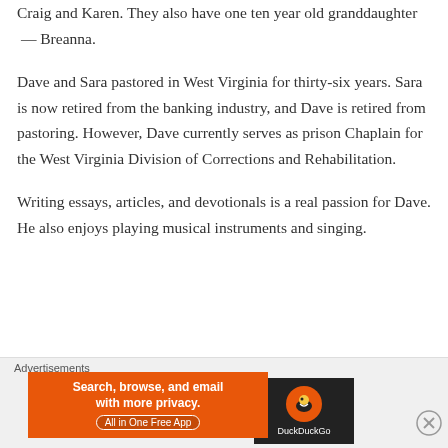Craig and Karen. They also have one ten year old granddaughter  — Breanna.
Dave and Sara pastored in West Virginia for thirty-six years. Sara is now retired from the banking industry, and Dave is retired from pastoring. However, Dave currently serves as prison Chaplain for the West Virginia Division of Corrections and Rehabilitation.
Writing essays, articles, and devotionals is a real passion for Dave. He also enjoys playing musical instruments and singing.
Advertisements
[Figure (other): DuckDuckGo advertisement banner: orange background with text 'Search, browse, and email with more privacy. All in One Free App' and DuckDuckGo logo on dark background]